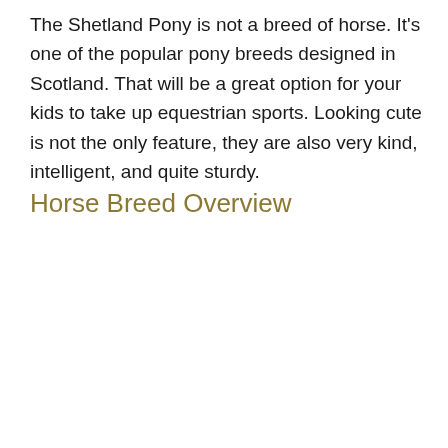The Shetland Pony is not a breed of horse. It's one of the popular pony breeds designed in Scotland. That will be a great option for your kids to take up equestrian sports. Looking cute is not the only feature, they are also very kind, intelligent, and quite sturdy.
Horse Breed Overview